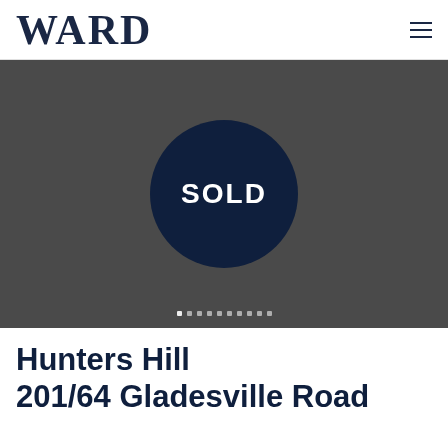WARD
[Figure (photo): Dark grey hero image with a large dark navy circle containing the word SOLD in white bold text. Carousel navigation dots are visible at the bottom.]
Hunters Hill
201/64 Gladesville Road